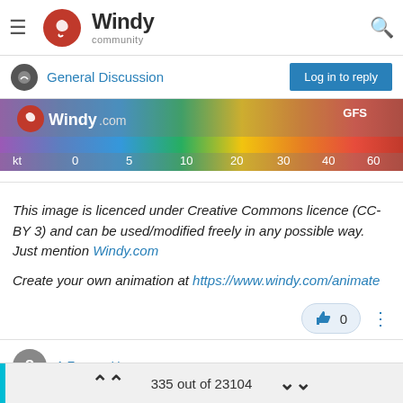Windy community
General Discussion
[Figure (screenshot): Windy.com wind speed color scale bar showing kt scale from 0 to 60, with GFS label]
This image is licenced under Creative Commons licence (CC-BY 3) and can be used/modified freely in any possible way. Just mention Windy.com
Create your own animation at https://www.windy.com/animate
0
A Former User
May 3, 2019, 3:12 AM
335 out of 23104